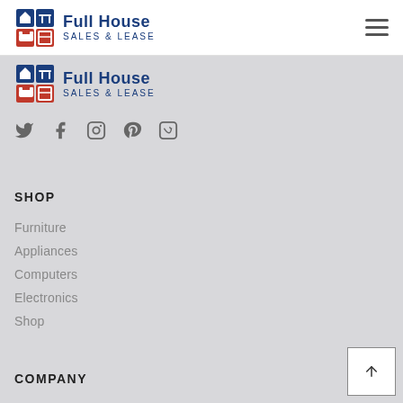Full House SALES & LEASE
[Figure (logo): Full House Sales & Lease logo repeated in scroll area]
[Figure (other): Social media icons: Twitter, Facebook, Instagram, Pinterest, Vimeo]
SHOP
Furniture
Appliances
Computers
Electronics
Shop
COMPANY